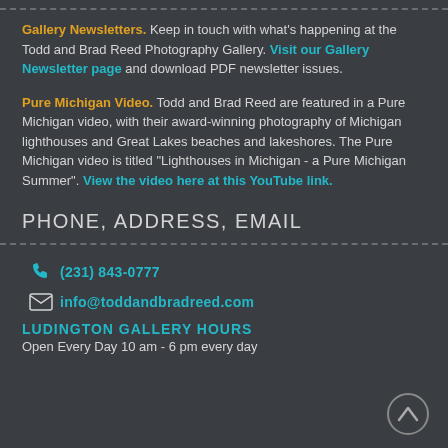Gallery Newsletters. Keep in touch with what's happening at the Todd and Brad Reed Photography Gallery. Visit our Gallery Newsletter page and download PDF newsletter issues.
Pure Michigan Video. Todd and Brad Reed are featured in a Pure Michigan video, with their award-winning photography of Michigan lighthouses and Great Lakes beaches and lakeshores. The Pure Michigan video is titled "Lighthouses in Michigan - a Pure Michigan Summer". View the video here at this YouTube link.
PHONE, ADDRESS, EMAIL
(231) 843-0777
info@toddandbradreed.com
LUDINGTON GALLERY HOURS
Open Every Day 10 am - 6 pm every day